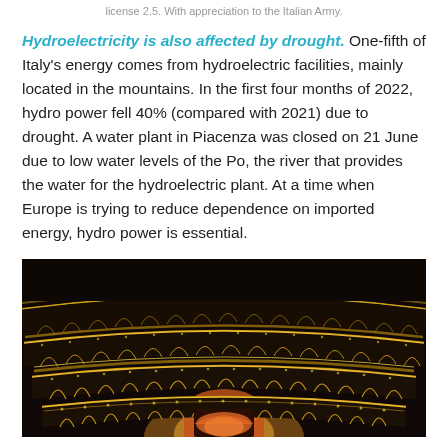license 2.5. With appreciation to the Italian Army.
Hydroelectricity is also affected by drought. One-fifth of Italy's energy comes from hydroelectric facilities, mainly located in the mountains. In the first four months of 2022, hydro power fell 40% (compared with 2021) due to drought. A water plant in Piacenza was closed on 21 June due to low water levels of the Po, the river that provides the water for the hydroelectric plant. At a time when Europe is trying to reduce dependence on imported energy, hydro power is essential.
[Figure (photo): Interior of an ornate theater in Piacenza showing multiple tiers of gilded balconies with arched openings, richly decorated with gold baroque ornamentation. The image shows the curved rows of private boxes with dark interiors, lit with warm golden lights against the dark background.]